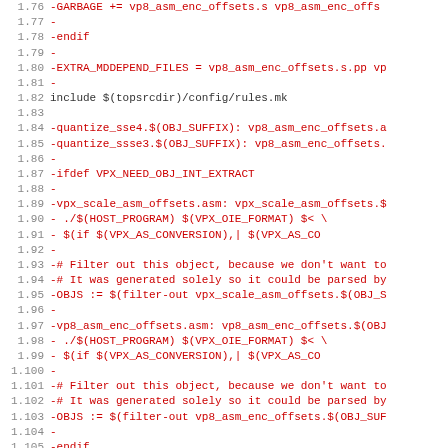Diff/patch code view showing removed lines from a Makefile, line numbers 1.76 through 1.108